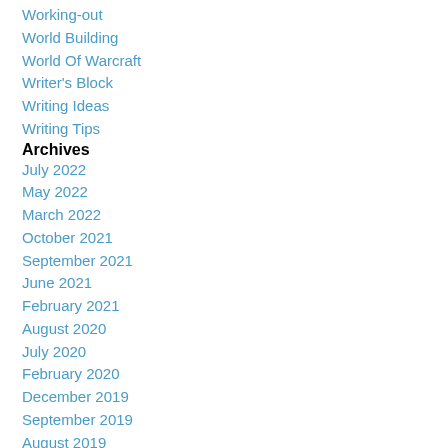Working-out
World Building
World Of Warcraft
Writer's Block
Writing Ideas
Writing Tips
Archives
July 2022
May 2022
March 2022
October 2021
September 2021
June 2021
February 2021
August 2020
July 2020
February 2020
December 2019
September 2019
August 2019